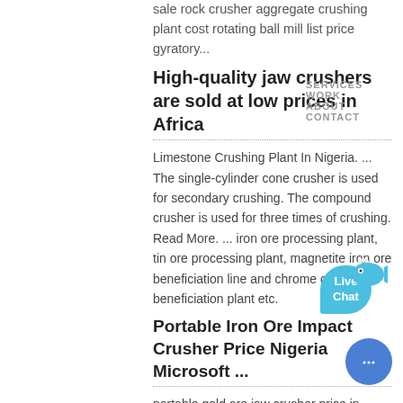sale rock crusher aggregate crushing plant cost rotating ball mill list price gyratory...
SERVICES  WORK  ABOUT  CONTACT
High-quality jaw crushers are sold at low prices in Africa
Limestone Crushing Plant In Nigeria. ... The single-cylinder cone crusher is used for secondary crushing. The compound crusher is used for three times of crushing. Read More. ... iron ore processing plant, tin ore processing plant, magnetite iron ore beneficiation line and chrome ore beneficiation plant etc.
Portable Iron Ore Impact Crusher Price Nigeria Microsoft ...
portable gold ore jaw crusher price in nigeria. Portable gold ore crusher suppliers nigeria iron ore crusher supplier in gold ore
COLOR:
Orange
Blue
Yellow